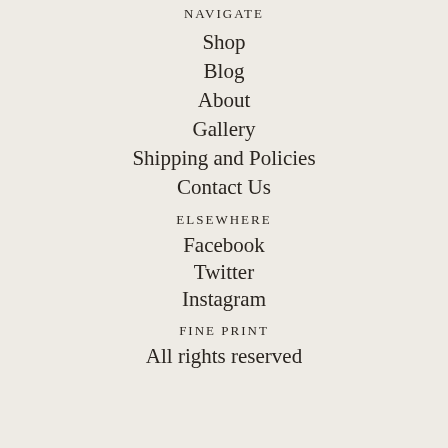NAVIGATE
Shop
Blog
About
Gallery
Shipping and Policies
Contact Us
ELSEWHERE
Facebook
Twitter
Instagram
FINE PRINT
All rights reserved